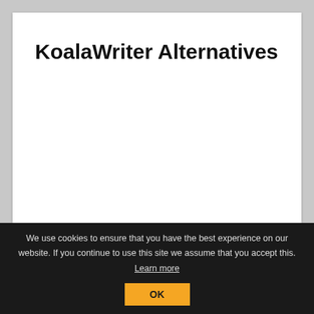KoalaWriter Alternatives
We use cookies to ensure that you have the best experience on our website. If you continue to use this site we assume that you accept this. Learn more